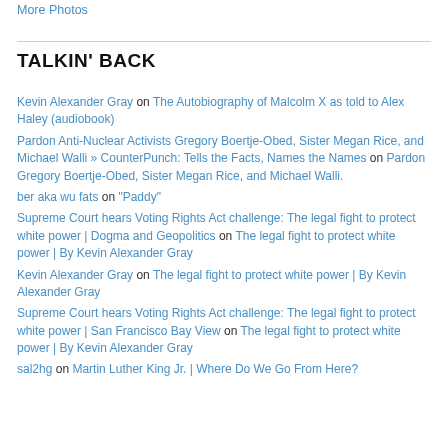More Photos
TALKIN' BACK
Kevin Alexander Gray on The Autobiography of Malcolm X as told to Alex Haley (audiobook)
Pardon Anti-Nuclear Activists Gregory Boertje-Obed, Sister Megan Rice, and Michael Walli » CounterPunch: Tells the Facts, Names the Names on Pardon Gregory Boertje-Obed, Sister Megan Rice, and Michael Walli.
ber aka wu fats on "Paddy"
Supreme Court hears Voting Rights Act challenge: The legal fight to protect white power | Dogma and Geopolitics on The legal fight to protect white power | By Kevin Alexander Gray
Kevin Alexander Gray on The legal fight to protect white power | By Kevin Alexander Gray
Supreme Court hears Voting Rights Act challenge: The legal fight to protect white power | San Francisco Bay View on The legal fight to protect white power | By Kevin Alexander Gray
sal2hg on Martin Luther King Jr. | Where Do We Go From Here?